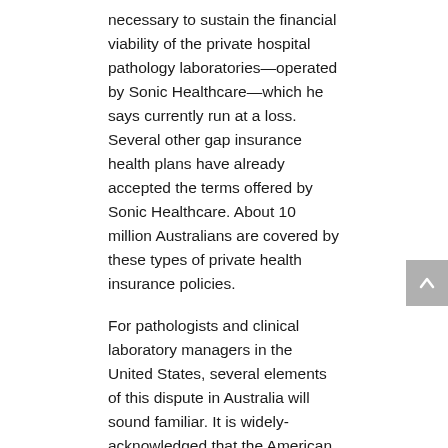necessary to sustain the financial viability of the private hospital pathology laboratories—operated by Sonic Healthcare—which he says currently run at a loss. Several other gap insurance health plans have already accepted the terms offered by Sonic Healthcare. About 10 million Australians are covered by these types of private health insurance policies.
For pathologists and clinical laboratory managers in the United States, several elements of this dispute in Australia will sound familiar. It is widely-acknowledged that the American Medicare and Medicaid programs often reimburse providers at a level that is below their cost to provide the service. Moreover, private health insurers continually want to use the Medicare fee schedule as the basis of what they pay providers, including clinical laboratories and pathologists. This arrangement pits pathology laboratories in the United States companies in a financial tug-of-war with private health insurance that is similar to what is unfolding between Sonic Healthcare...